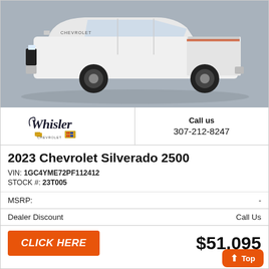[Figure (photo): White 2023 Chevrolet Silverado 2500 truck, side profile view on gray background]
[Figure (logo): Whisler Chevrolet Cadillac dealership logo with script text and brand emblems]
Call us
307-212-8247
2023 Chevrolet Silverado 2500
VIN: 1GC4YME72PF112412
STOCK #: 23T005
MSRP: -
Dealer Discount    Call Us
CLICK HERE
$51,095